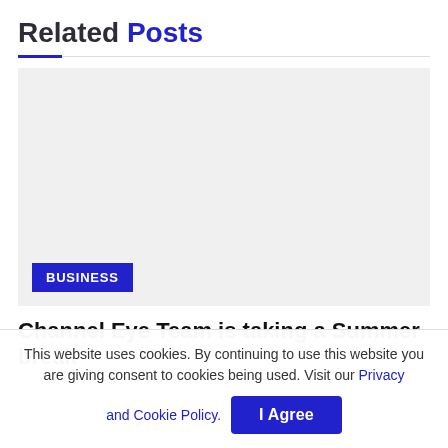Related Posts
[Figure (photo): Light gray placeholder image for a related post thumbnail, with a blue 'BUSINESS' category badge in the lower left corner.]
Channel Eye Team is taking a Summer break
This website uses cookies. By continuing to use this website you are giving consent to cookies being used. Visit our Privacy and Cookie Policy.